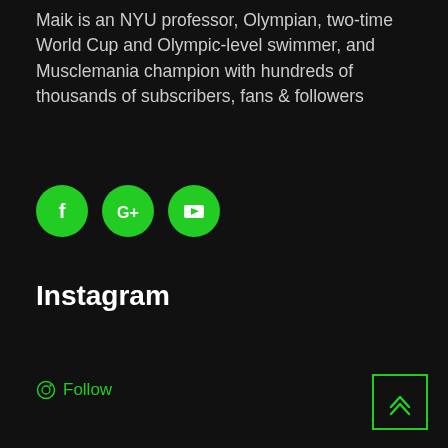Maik is an NYU professor, Olympian, two-time World Cup and Olympic-level swimmer, and Musclemania champion with hundreds of thousands of subscribers, fans & followers
[Figure (infographic): Three green circular social media icons: Facebook (f), Google Plus (G+), and YouTube (play button triangle)]
Instagram
© Follow
[Figure (other): Green bordered back-to-top button with double upward chevron arrows]